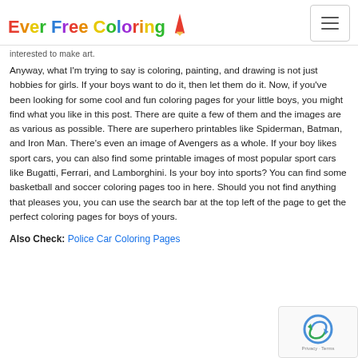Ever Free Coloring
interested to make art.
Anyway, what I'm trying to say is coloring, painting, and drawing is not just hobbies for girls. If your boys want to do it, then let them do it. Now, if you've been looking for some cool and fun coloring pages for your little boys, you might find what you like in this post. There are quite a few of them and the images are as various as possible. There are superhero printables like Spiderman, Batman, and Iron Man. There's even an image of Avengers as a whole. If your boy likes sport cars, you can also find some printable images of most popular sport cars like Bugatti, Ferrari, and Lamborghini. Is your boy into sports? You can find some basketball and soccer coloring pages too in here. Should you not find anything that pleases you, you can use the search bar at the top left of the page to get the perfect coloring pages for boys of yours.
Also Check: Police Car Coloring Pages